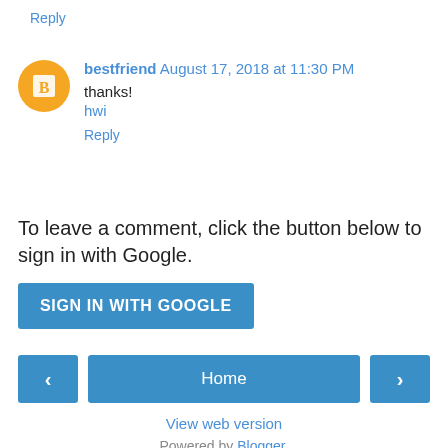Reply
bestfriend August 17, 2018 at 11:30 PM
thanks!
hwi
Reply
To leave a comment, click the button below to sign in with Google.
SIGN IN WITH GOOGLE
< Home >
View web version
Powered by Blogger.